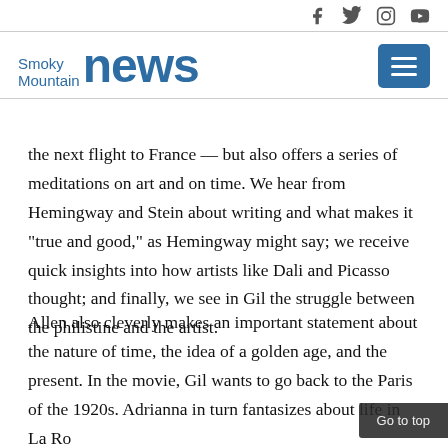Smoky Mountain news — social icons header
the next flight to France — but also offers a series of meditations on art and on time. We hear from Hemingway and Stein about writing and what makes it "true and good," as Hemingway might say; we receive quick insights into how artists like Dali and Picasso thought; and finally, we see in Gil the struggle between the philistine and the artist.
Allen also cleverly makes an important statement about the nature of time, the idea of a golden age, and the present. In the movie, Gil wants to go back to the Paris of the 1920s. Adrianna in turn fantasizes about life in La Ro…